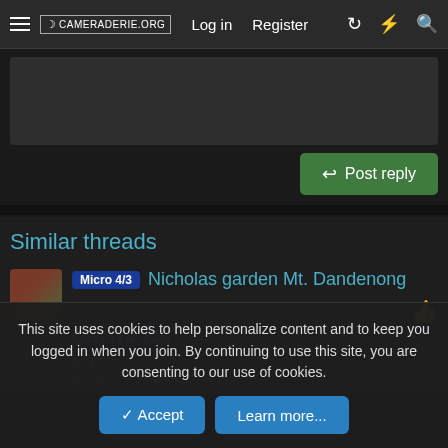CAMERADERIE.ORG  Log in  Register
[Figure (screenshot): Dark text editor/compose area]
Post reply
Similar threads
Micro 4/3  Nicholas garden Mt. Dandenong GH2-14-140
Boyzo
Replies: 5 · Jan 24, 2012
This site uses cookies to help personalize content and to keep you logged in when you join. By continuing to use this site, you are consenting to our use of cookies.
Accept  Learn more...